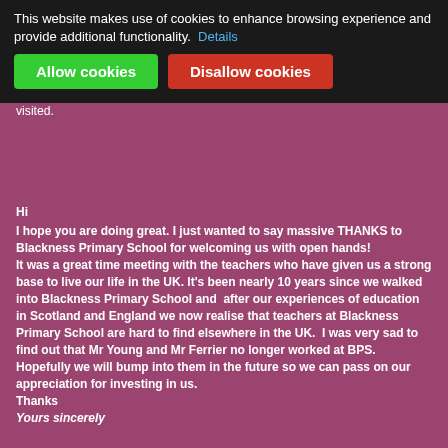This website makes use of cookies to enhance browsing experience and provide additional functionality. Details [Allow cookies] [Disallow cookies]
for the Youth Parliament in Westminster. One of the strengths of Blackness is definitely our multicultural community which we are very proud of.
As a school we are also very proud to hear the successes of ex-pupils, and are especially proud when they come back to share their successes.
Below is a copy of the email sent to the school after Arqam and his sisters visited.
Hi
I hope you are doing great. I just wanted to say massive THANKS to Blackness Primary School for welcoming us with open hands!
It was a great time meeting with the teachers who have given us a strong base to live our life in the UK. It's been nearly 10 years since we walked into Blackness Primary School and after our experiences of education in Scotland and England we now realise that teachers at Blackness Primary School are hard to find elsewhere in the UK. I was very sad to find out that Mr Young and Mr Ferrier no longer worked at BPS. Hopefully we will bump into them in the future so we can pass on our appreciation for investing in us.
Thanks
Yours sincerely